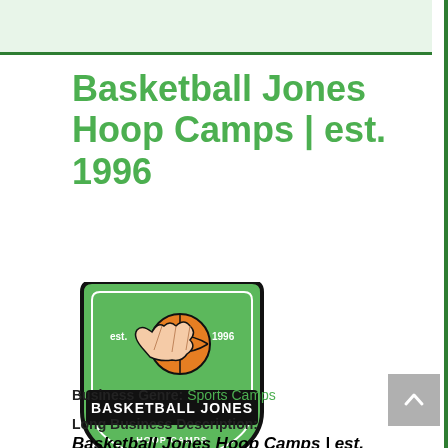Basketball Jones Hoop Camps | est. 1996
[Figure (logo): Basketball Jones Hoop Camps logo — shield-shaped badge with green background, hand holding a basketball, text 'BASKETBALL JONES HOOP CAMPS', 'est. 1996']
Business Genre: Sports Camps
Long Business Description:
Basketball Jones Hoop Camps | est. 1996